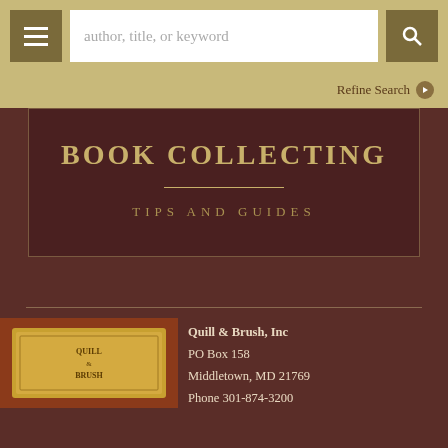author, title, or keyword
Refine Search
BOOK COLLECTING
TIPS AND GUIDES
[Figure (photo): Gold brass nameplate or award plaque with 'Quill & Brush' text engraved, mounted on wood]
Quill & Brush, Inc
PO Box 158
Middletown, MD 21769
Phone 301-874-3200